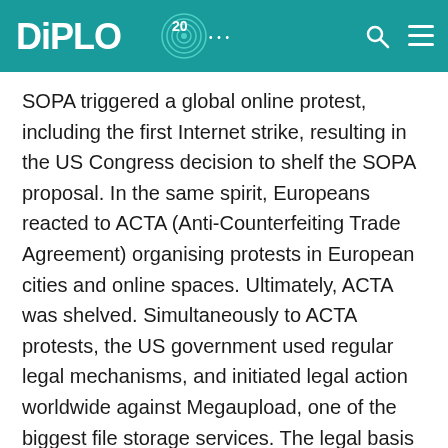DIPLO 20 [logo]
SOPA triggered a global online protest, including the first Internet strike, resulting in the US Congress decision to shelf the SOPA proposal. In the same spirit, Europeans reacted to ACTA (Anti-Counterfeiting Trade Agreement) organising protests in European cities and online spaces. Ultimately, ACTA was shelved. Simultaneously to ACTA protests, the US government used regular legal mechanisms, and initiated legal action worldwide against Megaupload, one of the biggest file storage services. The legal basis was found in Megaupload's major breach of intellectual